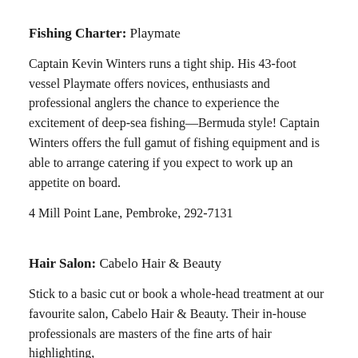Fishing Charter: Playmate
Captain Kevin Winters runs a tight ship. His 43-foot vessel Playmate offers novices, enthusiasts and professional anglers the chance to experience the excitement of deep-sea fishing—Bermuda style! Captain Winters offers the full gamut of fishing equipment and is able to arrange catering if you expect to work up an appetite on board.
4 Mill Point Lane, Pembroke, 292-7131
Hair Salon: Cabelo Hair & Beauty
Stick to a basic cut or book a whole-head treatment at our favourite salon, Cabelo Hair & Beauty. Their in-house professionals are masters of the fine arts of hair highlighting,